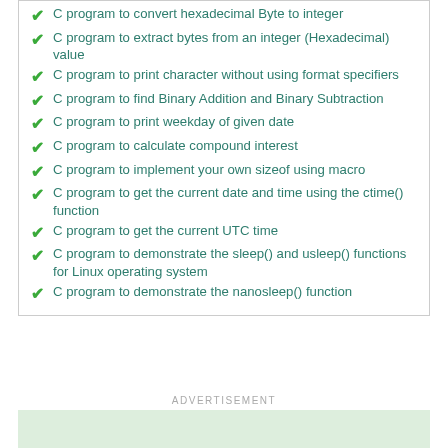C program to convert hexadecimal Byte to integer
C program to extract bytes from an integer (Hexadecimal) value
C program to print character without using format specifiers
C program to find Binary Addition and Binary Subtraction
C program to print weekday of given date
C program to calculate compound interest
C program to implement your own sizeof using macro
C program to get the current date and time using the ctime() function
C program to get the current UTC time
C program to demonstrate the sleep() and usleep() functions for Linux operating system
C program to demonstrate the nanosleep() function
ADVERTISEMENT